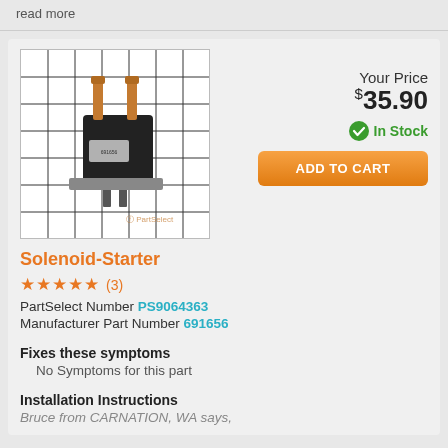read more
[Figure (photo): Solenoid-Starter part photo on a white grid background, showing a black electrical solenoid starter component with copper/orange terminals, watermarked with PartSelect logo]
Your Price $35.90
In Stock
ADD TO CART
Solenoid-Starter
★★★★★ (3)
PartSelect Number PS9064363
Manufacturer Part Number 691656
Fixes these symptoms
No Symptoms for this part
Installation Instructions
Bruce from CARNATION, WA says,